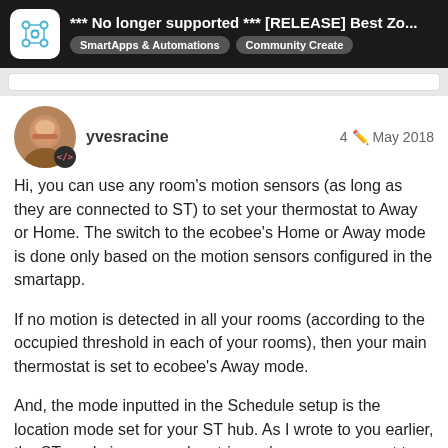*** No longer supported *** [RELEASE] Best Zo... SmartApps & Automations  Community Create
yvesracine   4  May 2018
Hi, you can use any room's motion sensors (as long as they are connected to ST) to set your thermostat to Away or Home. The switch to the ecobee's Home or Away mode is done only based on the motion sensors configured in the smartapp.

If no motion is detected in all your rooms (according to the occupied threshold in each of your rooms), then your main thermostat is set to ecobee's Away mode.

And, the mode inputted in the Schedule setup is the location mode set for your ST hub. As I wrote to you earlier, the ST mode is a secondary trigger (ex. you may want to run the schedule associated to you Morning climate only when your ST locatio
148 / 252